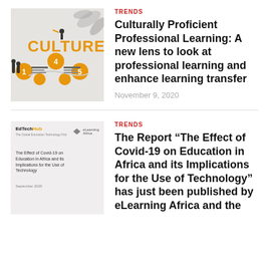TRENDS
Culturally Proficient Professional Learning: A new lens to look at professional learning and enhance learning transfer
November 9, 2020
[Figure (illustration): Culture infographic showing orange circles numbered 1-5 with text labels on a light background with silhouettes.]
TRENDS
The Report “The Effect of Covid-19 on Education in Africa and its Implications for the Use of Technology” has just been published by eLearning Africa and the
[Figure (illustration): EdTech Hub and eLearning Africa report cover: The Effect of Covid-19 on Education in Africa and its Implications for the Use of Technology, September 2020.]